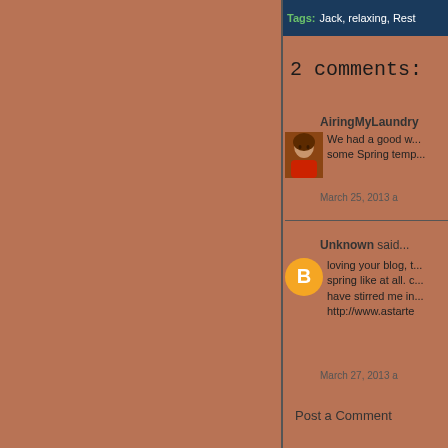Tags: Jack, relaxing, Rest
2 comments:
AiringMyLaundry
We had a good w... some Spring temp...
March 25, 2013 a
Unknown said...
loving your blog, t... spring like at all. C... have stirred me in... http://www.astarte
March 27, 2013 a
Post a Comment